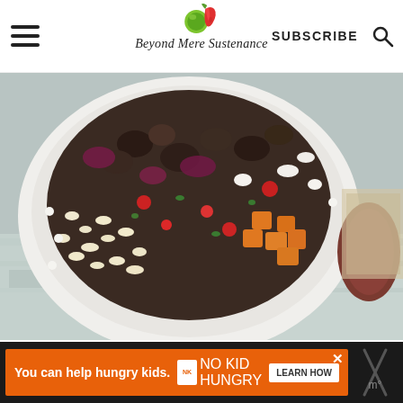Beyond Mere Sustenance — SUBSCRIBE
[Figure (photo): Close-up of a colorful grain and vegetable salad in a white bowl, containing olives, tomatoes, corn, sweet potatoes, herbs, and other vegetables, placed on a rustic white painted wood surface.]
133
777
[Figure (infographic): Advertisement banner: 'You can help hungry kids.' with No Kid Hungry logo and a LEARN HOW button on an orange background.]